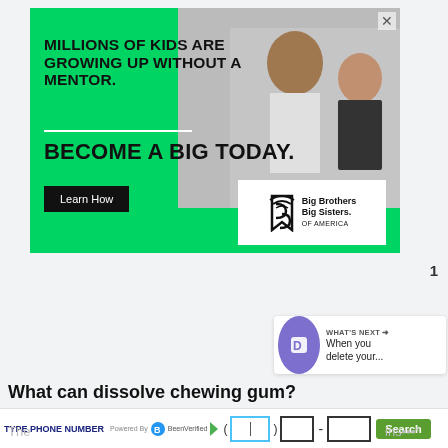[Figure (photo): Advertisement banner for Big Brothers Big Sisters of America. Green background with photo of adult mentor and child. Text reads: MILLIONS OF KIDS ARE GROWING UP WITHOUT A MENTOR. BECOME A BIG TODAY. Learn How button. Big Brothers Big Sisters of America logo.]
1
WHAT'S NEXT → When you delete your...
What can dissolve chewing gum?
TYPE PHONE NUMBER   Powered By BeenVerified   ( ___ ) ___ - ___   Search
The ... ins...